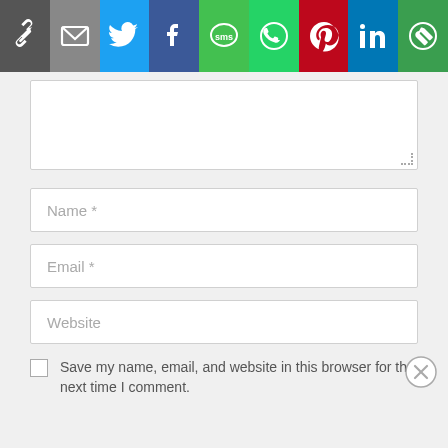[Figure (screenshot): Social sharing toolbar with icons: link/copy, email, Twitter, Facebook, SMS, WhatsApp, Pinterest, LinkedIn, More]
[Figure (screenshot): Web comment form with textarea, Name field, Email field, Website field, and a save checkbox with label 'Save my name, email, and website in this browser for the next time I comment.']